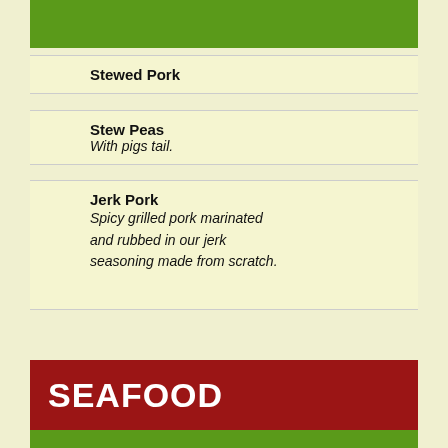[Figure (other): Green decorative bar at top of menu section]
Stewed Pork
Stew Peas
With pigs tail.
Jerk Pork
Spicy grilled pork marinated and rubbed in our jerk seasoning made from scratch.
SEAFOOD
[Figure (other): Green decorative bar at top of seafood section]
Brown Stewed Red Snapper
Marinated and or yellow tail.